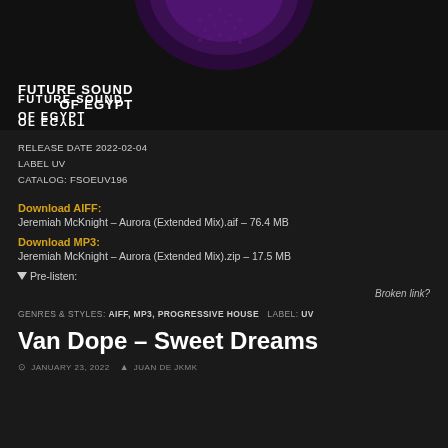[Figure (illustration): Album art with purple circular design on dark background, Future Sound of Egypt logo (reflected/mirrored) at bottom left]
RELEASE DATE 2022-02-04
LABEL UV
CATALOG: FSOEUV196
Download AIFF:
Jeremiah McKnight – Aurora (Extended Mix).aif – 76.4 MB
Download MP3:
Jeremiah McKnight – Aurora (Extended Mix).zip – 17.5 MB
▾ Pre-listen:
Broken link?
GENRES & STYLES: AIFF, MP3, PROGRESSIVE HOUSE   LABEL: UV
Van Dope – Sweet Dreams
JANUARY 23, 2022   JUAN DE JKMK